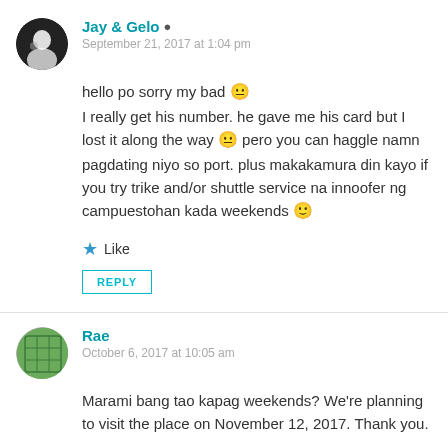Jay & Gelo — September 21, 2017 at 1:04 pm
hello po sorry my bad 😐 I really get his number. he gave me his card but I lost it along the way 😐 pero you can haggle namn pagdating niyo so port. plus makakamura din kayo if you try trike and/or shuttle service na innoofer ng campuestohan kada weekends 🙂
★ Like
REPLY
Rae — October 6, 2017 at 10:05 am
Marami bang tao kapag weekends? We're planning to visit the place on November 12, 2017. Thank you.
★ Liked by 1 person
REPLY